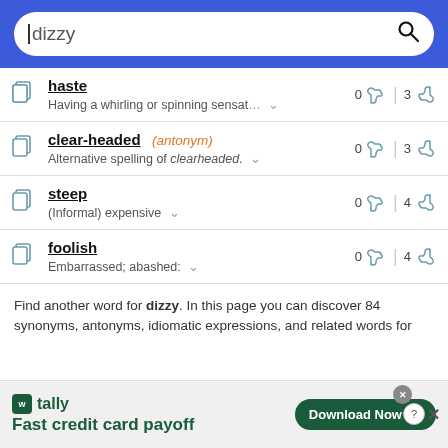dizzy [search bar]
haste — Having a whirling or spinning sensat… — 0 up 3 down
clear-headed (antonym) — Alternative spelling of clearheaded. — 0 up 3 down
steep — (Informal) expensive — 0 up 4 down
foolish — Embarrassed; abashed: — 0 up 4 down
Find another word for dizzy. In this page you can discover 84 synonyms, antonyms, idiomatic expressions, and related words for
[Figure (screenshot): Advertisement for Tally Fast credit card payoff with Download Now button]